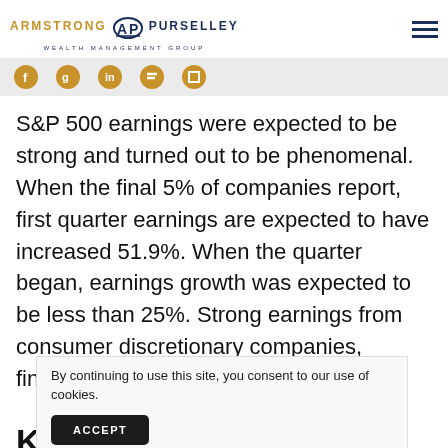ARMSTRONG AP PURSELLEY WEALTH MANAGEMENT GROUP
[Figure (logo): Armstrong Purselley Wealth Management Group logo with gold and navy text and AP monogram]
S&P 500 earnings were expected to be strong and turned out to be phenomenal. When the final 5% of companies report, first quarter earnings are expected to have increased 51.9%. When the quarter began, earnings growth was expected to be less than 25%. Strong earnings from consumer discretionary companies, financials, and the communication
By continuing to use this site, you consent to our use of cookies.
ACCEPT